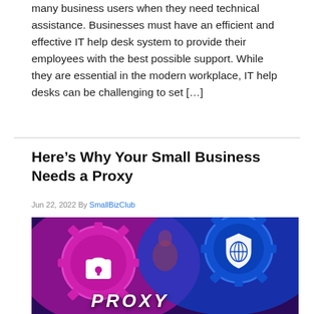many business users when they need technical assistance. Businesses must have an efficient and effective IT help desk system to provide their employees with the best possible support. While they are essential in the modern workplace, IT help desks can be challenging to set […]
Here's Why Your Small Business Needs a Proxy
Jun 22, 2022 By SmallBizClub
[Figure (photo): Cybersecurity proxy concept image showing two large gears — one magenta/pink with a padlock icon and one blue with a globe/shield icon — against a purple-blue background, with the word PROXY in bold white italic letters at the bottom.]